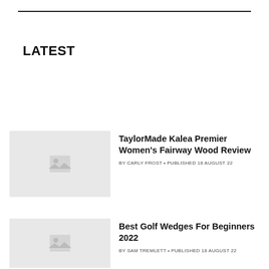LATEST
[Figure (photo): Placeholder image thumbnail for TaylorMade Kalea Premier Women's Fairway Wood Review article]
TaylorMade Kalea Premier Women's Fairway Wood Review
BY CARLY FROST • PUBLISHED 18 AUGUST 22
[Figure (photo): Placeholder image thumbnail for Best Golf Wedges For Beginners 2022 article]
Best Golf Wedges For Beginners 2022
BY SAM TREMLETT • PUBLISHED 18 AUGUST 22